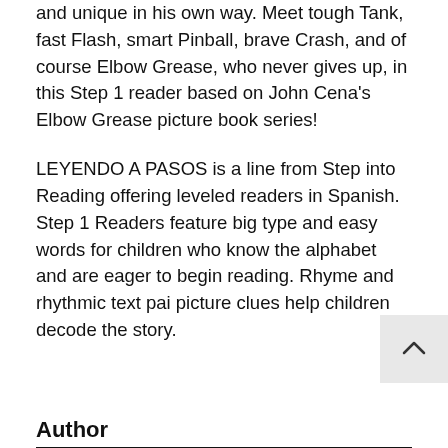and unique in his own way. Meet tough Tank, fast Flash, smart Pinball, brave Crash, and of course Elbow Grease, who never gives up, in this Step 1 reader based on John Cena's Elbow Grease picture book series!
LEYENDO A PASOS is a line from Step into Reading offering leveled readers in Spanish. Step 1 Readers feature big type and easy words for children who know the alphabet and are eager to begin reading. Rhyme and rhythmic text pai picture clues help children decode the story.
Author